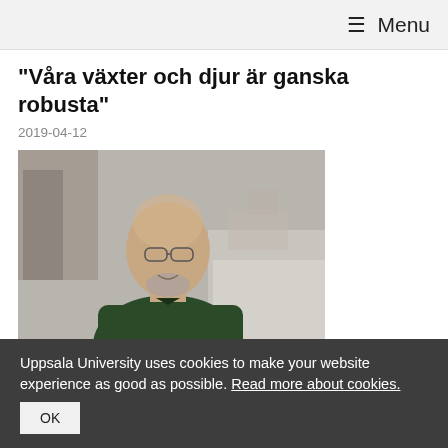≡ Menu
"Våra växter och djur är ganska robusta"
2019-04-12
[Figure (photo): Portrait photo of Jon Ågren, a middle-aged balding man with glasses and a grey beard, wearing a dark green fleece jacket, standing outdoors with blurred trees and a path in the background.]
Jon Ågren har i sin egen forskning bland annat studerat majvivor på Alvaret, Öland. Foto/bild: Linda Koffmar
Uppsala University uses cookies to make your website experience as good as possible. Read more about cookies.